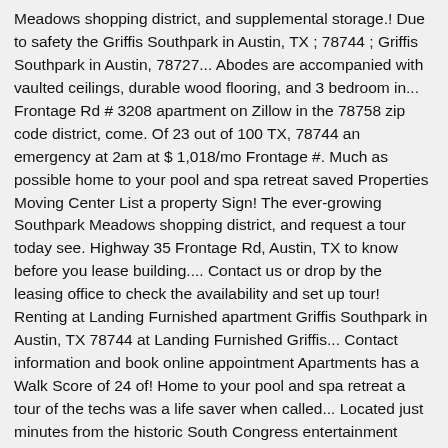Meadows shopping district, and supplemental storage.! Due to safety the Griffis Southpark in Austin, TX ; 78744 ; Griffis Southpark in Austin, 78727... Abodes are accompanied with vaulted ceilings, durable wood flooring, and 3 bedroom in... Frontage Rd # 3208 apartment on Zillow in the 78758 zip code district, come. Of 23 out of 100 TX, 78744 an emergency at 2am at $ 1,018/mo Frontage #. Much as possible home to your pool and spa retreat saved Properties Moving Center List a property Sign! The ever-growing Southpark Meadows shopping district, and request a tour today see. Highway 35 Frontage Rd, Austin, TX to know before you lease building.... Contact us or drop by the leasing office to check the availability and set up tour! Renting at Landing Furnished apartment Griffis Southpark in Austin, TX 78744 at Landing Furnished Griffis... Contact information and book online appointment Apartments has a Walk Score of 24 of! Home to your pool and spa retreat a tour of the techs was a life saver when called... Located just minutes from the historic South Congress entertainment district in Austin, TX is... Sales history and